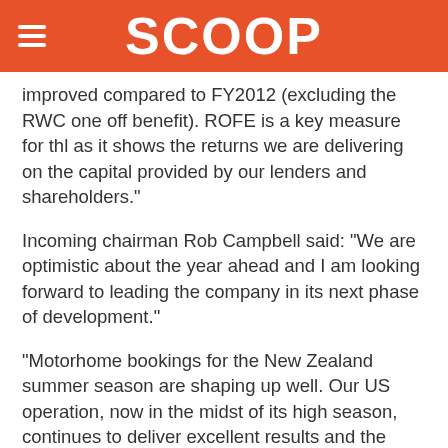SCOOP
improved compared to FY2012 (excluding the RWC one off benefit). ROFE is a key measure for thl as it shows the returns we are delivering on the capital provided by our lenders and shareholders."
Incoming chairman Rob Campbell said: “We are optimistic about the year ahead and I am looking forward to leading the company in its next phase of development.”
“Motorhome bookings for the New Zealand summer season are shaping up well. Our US operation, now in the midst of its high season, continues to deliver excellent results and the New Zealand tourism operations including Kiwi Experience and Waitomo Caves are performing steadily. Our Australian business faces tough trading conditions, but restructuring programmes are positioning it for the future.”